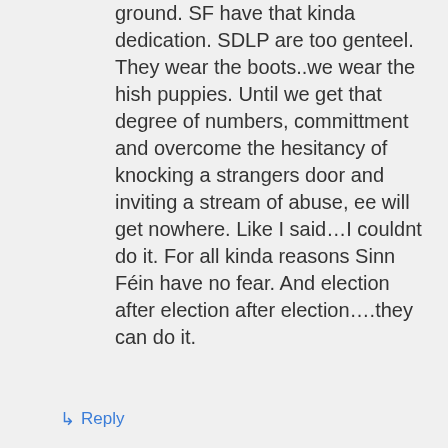ground. SF have that kinda dedication. SDLP are too genteel. They wear the boots..we wear the hish puppies. Until we get that degree of numbers, committment and overcome the hesitancy of knocking a strangers door and inviting a stream of abuse, ee will get nowhere. Like I said…I couldnt do it. For all kinda reasons Sinn Féin have no fear. And election after election after election….they can do it.
↳ Reply